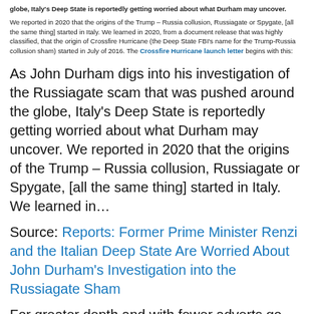globe, Italy's Deep State is reportedly getting worried about what Durham may uncover. We reported in 2020 that the origins of the Trump – Russia collusion, Russiagate or Spygate, [all the same thing] started in Italy. We learned in 2020, from a document release that was highly classified, that the origin of Crossfire Hurricane (the Deep State FBI's name for the Trump-Russia collusion sham) started in July of 2016. The Crossfire Hurricane launch letter begins with this:
As John Durham digs into his investigation of the Russiagate scam that was pushed around the globe, Italy's Deep State is reportedly getting worried about what Durham may uncover. We reported in 2020 that the origins of the Trump – Russia collusion, Russiagate or Spygate, [all the same thing] started in Italy.  We learned in…
Source: Reports: Former Prime Minister Renzi and the Italian Deep State Are Worried About John Durham's Investigation into the Russiagate Sham
For greater depth and with fewer adverts go to…